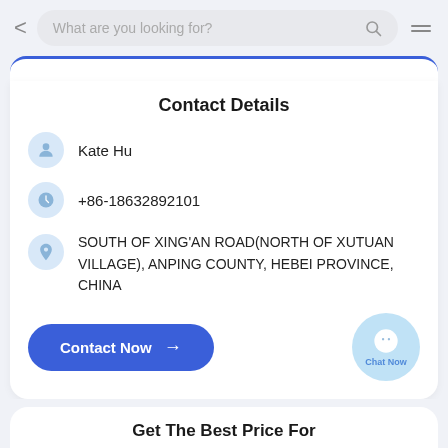What are you looking for?
Contact Details
Kate Hu
+86-18632892101
SOUTH OF XING'AN ROAD(NORTH OF XUTUAN VILLAGE), ANPING COUNTY, HEBEI PROVINCE, CHINA
Contact Now →
Chat Now
Get The Best Price For